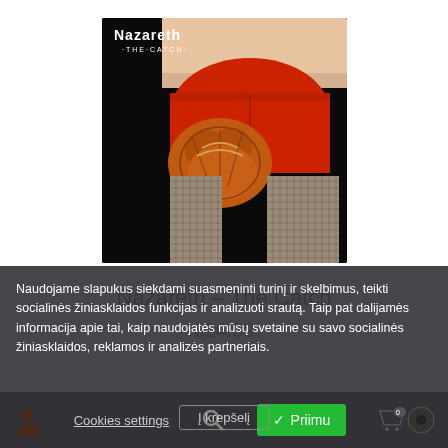[Figure (photo): Album cover for Nazareth – The Catch. Shows a person wearing red shorts holding an orange baseball glove, wearing fishnet stockings. 'Nazareth The Catch' text visible at top left of image.]
Nazareth – The Catch
€24.99
Naudojame slapukus siekdami suasmeninti turinį ir skelbimus, teikti socialinės žiniasklaidos funkcijas ir analizuoti srautą. Taip pat dalijamės informacija apie tai, kaip naudojatės mūsų svetaine su savo socialinės žiniasklaidos, reklamos ir analizės partneriais.
Cookies settings
✓ Priimu
Į krepšelį